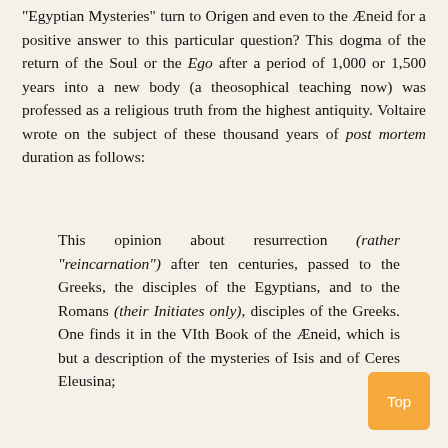"Egyptian Mysteries" turn to Origen and even to the Æneid for a positive answer to this particular question? This dogma of the return of the Soul or the Ego after a period of 1,000 or 1,500 years into a new body (a theosophical teaching now) was professed as a religious truth from the highest antiquity. Voltaire wrote on the subject of these thousand years of post mortem duration as follows:
This opinion about resurrection (rather "reincarnation") after ten centuries, passed to the Greeks, the disciples of the Egyptians, and to the Romans (their Initiates only), disciples of the Greeks. One finds it in the VIth Book of the Æneid, which is but a description of the mysteries of Isis and of Ceres Eleusina;